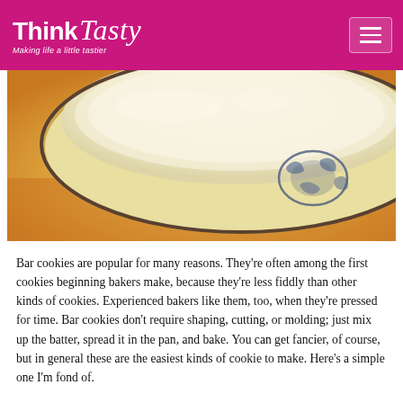Think Tasty — Making life a little tastier
[Figure (photo): Close-up photograph of a white ceramic mixing bowl with blue floral pattern, partially filled with flour or dough, on a warm orange-yellow background]
Bar cookies are popular for many reasons. They're often among the first cookies beginning bakers make, because they're less fiddly than other kinds of cookies. Experienced bakers like them, too, when they're pressed for time. Bar cookies don't require shaping, cutting, or molding; just mix up the batter, spread it in the pan, and bake. You can get fancier, of course, but in general these are the easiest kinds of cookie to make. Here's a simple one I'm fond of.